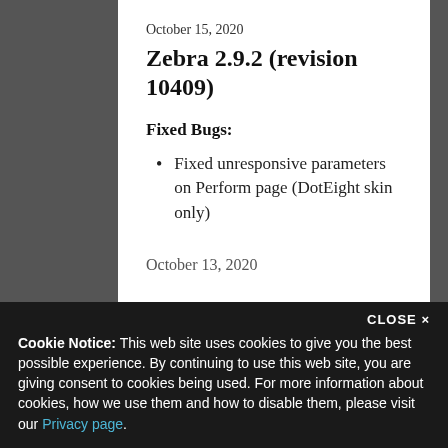October 15, 2020
Zebra 2.9.2 (revision 10409)
Fixed Bugs:
Fixed unresponsive parameters on Perform page (DotEight skin only)
October 13, 2020
CLOSE ×
Cookie Notice: This web site uses cookies to give you the best possible experience. By continuing to use this web site, you are giving consent to cookies being used. For more information about cookies, how we use them and how to disable them, please visit our Privacy page.